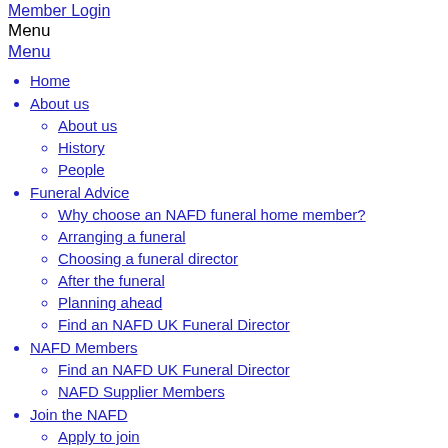Member Login
Menu
Menu
Home
About us
About us
History
People
Funeral Advice
Why choose an NAFD funeral home member?
Arranging a funeral
Choosing a funeral director
After the funeral
Planning ahead
Find an NAFD UK Funeral Director
NAFD Members
Find an NAFD UK Funeral Director
NAFD Supplier Members
Join the NAFD
Apply to join
UK Funeral Firm Membership
UK Supplier Membership
Overseas Membership
The benefits of joining the NAFD
2 Miranda ADA-1021 Dual Analog Audio Distribution